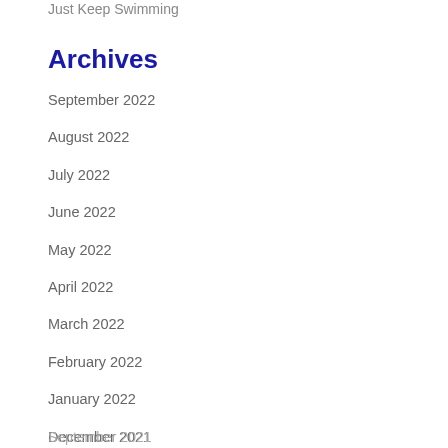Just Keep Swimming
Archives
September 2022
August 2022
July 2022
June 2022
May 2022
April 2022
March 2022
February 2022
January 2022
December 2021
November 2021
October 2021
September 2021